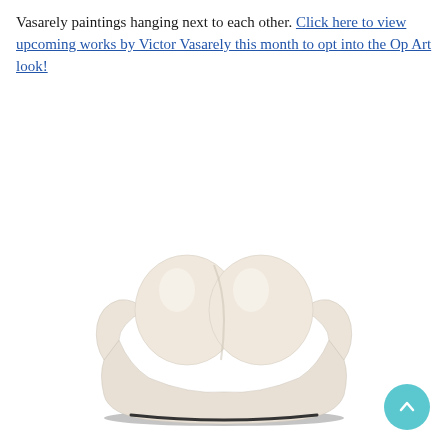Vasarely paintings hanging next to each other. Click here to view upcoming works by Victor Vasarely this month to opt into the Op Art look!
[Figure (photo): A white ceramic or porcelain tooth-shaped object (resembling a molar crown) viewed from the front, with a dark base edge, on a white background.]